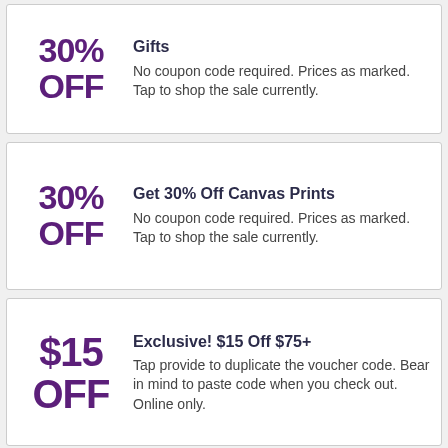30% OFF
Gifts
No coupon code required. Prices as marked. Tap to shop the sale currently.
30% OFF
Get 30% Off Canvas Prints
No coupon code required. Prices as marked. Tap to shop the sale currently.
$15 OFF
Exclusive! $15 Off $75+
Tap provide to duplicate the voucher code. Bear in mind to paste code when you check out. Online only.